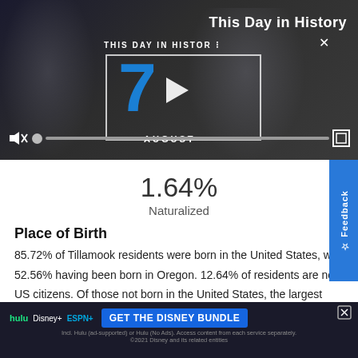[Figure (screenshot): Video player showing 'This Day in History' with number 7 and AUGUST, with playback controls at the bottom]
This Day in History
1.64%
Naturalized
Place of Birth
85.72% of Tillamook residents were born in the United States, with 52.56% having been born in Oregon. 12.64% of residents are not US citizens. Of those not born in the United States, the largest
[Figure (screenshot): Advertisement banner for Disney Bundle featuring Hulu, Disney+, and ESPN+ logos with 'GET THE DISNEY BUNDLE' button]